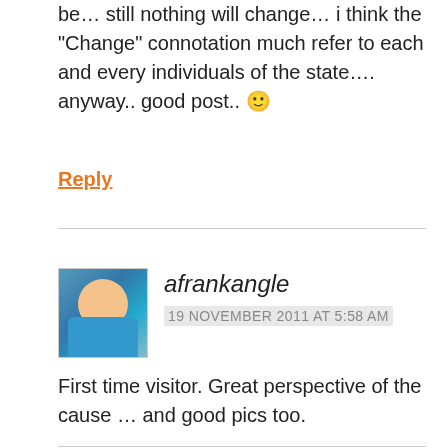be… still nothing will change… i think the “Change” connotation much refer to each and every individuals of the state…. anyway.. good post.. 🙂
Reply
afrankangle
19 NOVEMBER 2011 AT 5:58 AM
First time visitor. Great perspective of the cause … and good pics too.
Reply